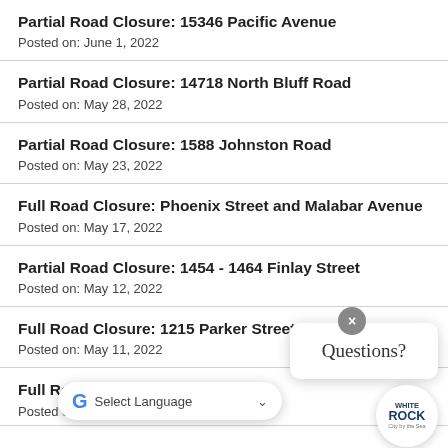Partial Road Closure: 15346 Pacific Avenue
Posted on: June 1, 2022
Partial Road Closure: 14718 North Bluff Road
Posted on: May 28, 2022
Partial Road Closure: 1588 Johnston Road
Posted on: May 23, 2022
Full Road Closure: Phoenix Street and Malabar Avenue
Posted on: May 17, 2022
Partial Road Closure: 1454 - 1464 Finlay Street
Posted on: May 12, 2022
Full Road Closure: 1215 Parker Street
Posted on: May 11, 2022
Full Road and ... 5521 Russell Ave
Posted on: June...
[Figure (other): Questions? chat widget popup with close button (x), and White Rock City by the Sea logo circle]
[Figure (other): Google Translate Select Language bar overlay at bottom of page]